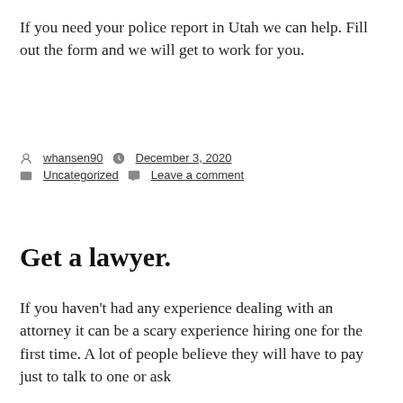If you need your police report in Utah we can help. Fill out the form and we will get to work for you.
Posted by whansen90   December 3, 2020   Uncategorized   Leave a comment
Get a lawyer.
If you haven't had any experience dealing with an attorney it can be a scary experience hiring one for the first time. A lot of people believe they will have to pay just to talk to one or ask